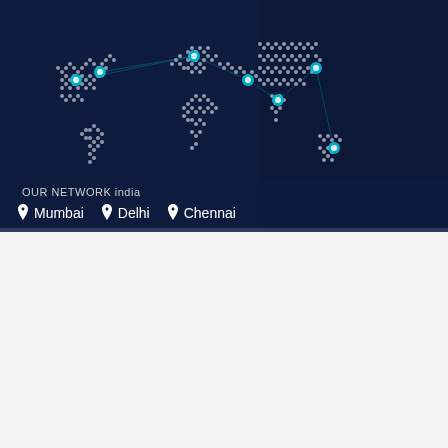[Figure (map): World map made of white dots on dark blue background with cyan/blue location markers indicating network presence across multiple continents]
OUR NETWORK india
📍 Mumbai  📍 Delhi  📍 Chennai
About Us
Sachiya Steel International
We are an ISO TUV 9001:2015 Certified Company in India. We Sachiya Steel International Manufacturers Supplier and Exporter of Pipes and Tubes Products in India. We Provide all Types of Materials, Grades, Shapes, and Sizes as per the client's requirements.